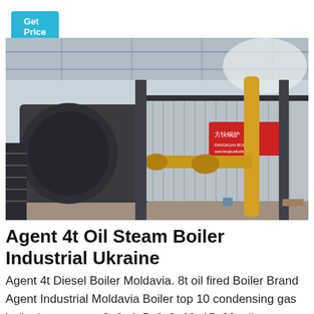Get Price
[Figure (photo): Industrial oil/gas steam boiler in a factory setting. The boiler is large, metallic, with yellow gas pipes and fittings visible. Chinese manufacturer branding (方快锅炉) on the side. Staircase and industrial structure visible in background.]
Agent 4t Oil Steam Boiler Industrial Ukraine
Agent 4t Diesel Boiler Moldavia. 8t oil fired Boiler Brand Agent Industrial Moldavia Boiler top 10 condensing gas boiler in germany. 2t 3t 4t 5t 6t 8t 10t 15t 20t oil gas boiler